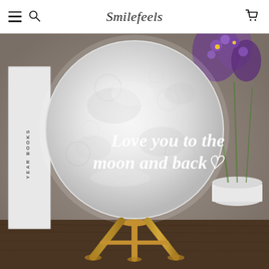Smilefeels
[Figure (photo): Product photo of a glowing moon lamp engraved with 'Love you to the moon and back ♡', sitting on a wooden tripod stand. Background shows books, purple flowers, and a wooden table surface.]